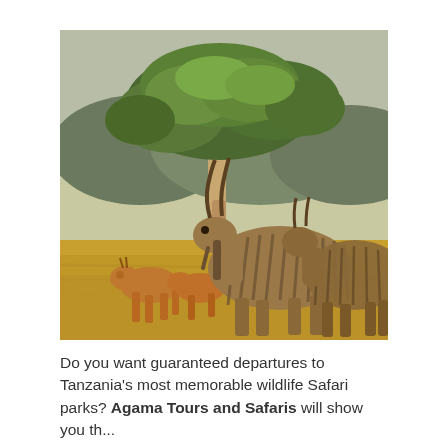[Figure (photo): Wildlife safari photo showing large striped elands and smaller orange-brown antelopes grazing in dry savanna grassland, with a large spreading acacia tree in the background and green hills visible in the distance.]
Do you want guaranteed departures to Tanzania's most memorable wildlife Safari parks? Agama Tours and Safaris will show you th...